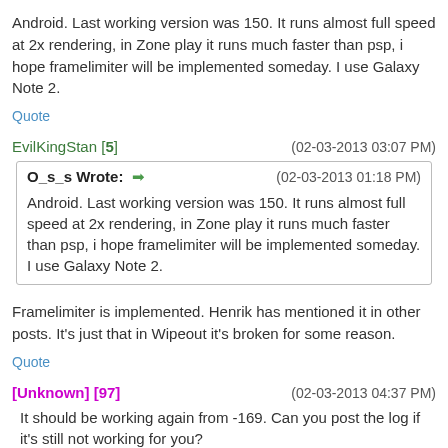Android. Last working version was 150. It runs almost full speed at 2x rendering, in Zone play it runs much faster than psp, i hope framelimiter will be implemented someday. I use Galaxy Note 2.
Quote
EvilKingStan [5]   (02-03-2013 03:07 PM)
O_s_s Wrote: ➡   (02-03-2013 01:18 PM)
Android. Last working version was 150. It runs almost full speed at 2x rendering, in Zone play it runs much faster than psp, i hope framelimiter will be implemented someday. I use Galaxy Note 2.
Framelimiter is implemented. Henrik has mentioned it in other posts. It's just that in Wipeout it's broken for some reason.
Quote
[Unknown] [97]   (02-03-2013 04:37 PM)
It should be working again from -169. Can you post the log if it's still not working for you?
-[Unknown]
Quote